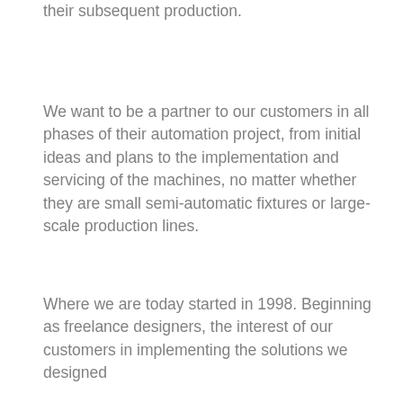their subsequent production.
We want to be a partner to our customers in all phases of their automation project, from initial ideas and plans to the implementation and servicing of the machines, no matter whether they are small semi-automatic fixtures or large-scale production lines.
Where we are today started in 1998. Beginning as freelance designers, the interest of our customers in implementing the solutions we designed